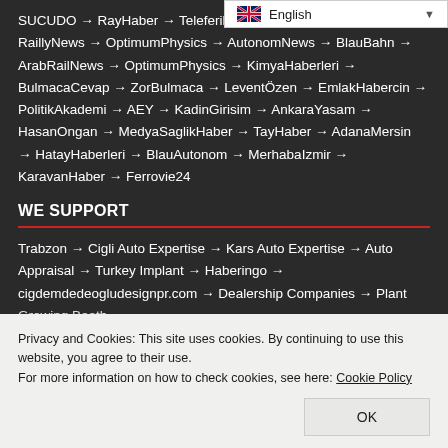SUCUDO → RayHaber → TeleferikHaber → RaillyNews → OptimumPhysics → AutonomNews → BlauBahn → ArabRailNews → OptimumPhysics → KimyaHaberleri → BulmacaCevap → ZorBulmaca → LeventÖzen → EmlakHabercin → PolitikAkademi → AEY → KadinGirisim → AnkaraYasam → HasanOngan → MedyaSaglikHaber → TayHaber → AdanaMersin → HatayHaberleri → BlauAutonom → MerhabaIzmir → KaravanHaber → Ferrovie24
WE SUPPORT
Trabzon → Cigli Auto Expertise → Kars Auto Expertise → Auto Appraisal → Turkey Implant → Haberingo → cigdemdedeogludesignpr.com → Dealership Companies → Plant Growing Booth
Privacy and Cookies: This site uses cookies. By continuing to use this website, you agree to their use.
For more information on how to check cookies, see here: Cookie Policy